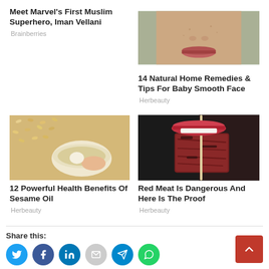Meet Marvel's First Muslim Superhero, Iman Vellani
Brainberries
[Figure (photo): Close-up of a person's lower face showing chin and lips with slight blemishes]
14 Natural Home Remedies & Tips For Baby Smooth Face
Herbeauty
[Figure (photo): Hand stirring a bowl surrounded by sesame seeds]
12 Powerful Health Benefits Of Sesame Oil
Herbeauty
[Figure (photo): Woman with red lips holding a piece of grilled meat on a stick near her mouth]
Red Meat Is Dangerous And Here Is The Proof
Herbeauty
Share this: